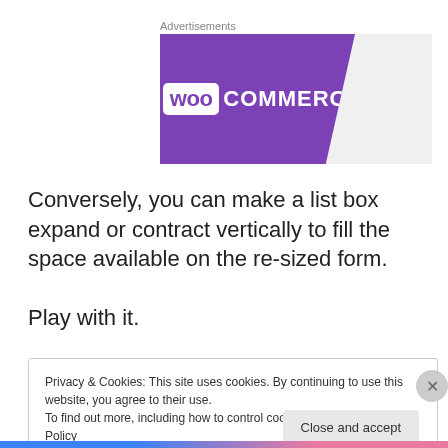Advertisements
[Figure (logo): WooCommerce advertisement banner with purple background and white WooCommerce logo]
Conversely, you can make a list box expand or contract vertically to fill the space available on the re-sized form.
Play with it.
Privacy & Cookies: This site uses cookies. By continuing to use this website, you agree to their use.
To find out more, including how to control cookies, see here: Cookie Policy